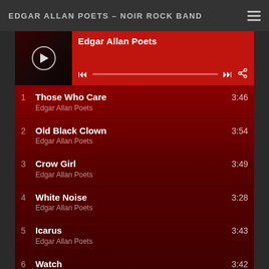EDGAR ALLAN POETS – NOIR ROCK BAND
[Figure (screenshot): Music player widget showing album art with play button, artist name 'Edgar Allan Poets', playback controls including skip back, progress bar, skip forward, and share icon, on a red background.]
1  Those Who Care  3:46
Edgar Allan Poets
2  Old Black Clown  3:54
Edgar Allan Poets
3  Crow Girl  3:49
Edgar Allan Poets
4  White Noise  3:28
Edgar Allan Poets
5  Icarus  3:43
Edgar Allan Poets
6  Watch  3:42
Edgar Allan Poets